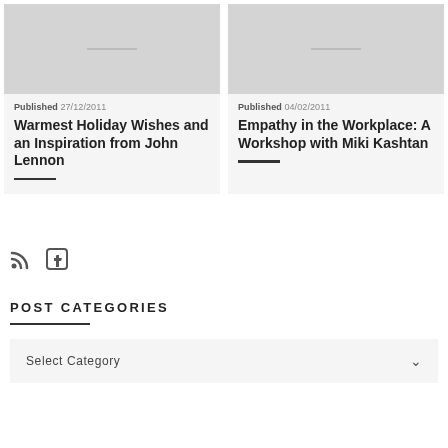[Figure (photo): Placeholder image for article card 1 (gray rectangle)]
Published 27/12/2011
Warmest Holiday Wishes and an Inspiration from John Lennon
[Figure (photo): Placeholder image for article card 2 (gray rectangle)]
Published 04/02/2011
Empathy in the Workplace: A Workshop with Miki Kashtan
[Figure (other): RSS feed icon and Facebook icon]
POST CATEGORIES
Select Category